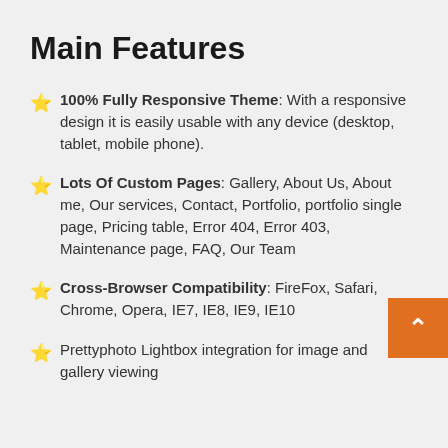Main Features
100% Fully Responsive Theme: With a responsive design it is easily usable with any device (desktop, tablet, mobile phone).
Lots Of Custom Pages: Gallery, About Us, About me, Our services, Contact, Portfolio, portfolio single page, Pricing table, Error 404, Error 403, Maintenance page, FAQ, Our Team
Cross-Browser Compatibility: FireFox, Safari, Chrome, Opera, IE7, IE8, IE9, IE10
Prettyphoto Lightbox integration for image and gallery viewing